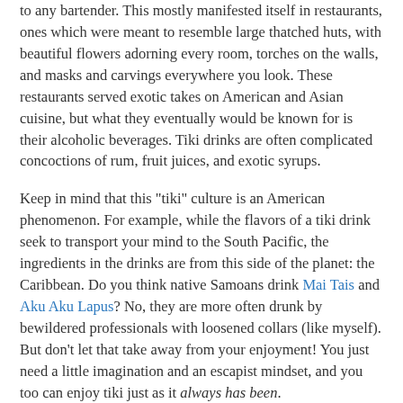to any bartender. This mostly manifested itself in restaurants, ones which were meant to resemble large thatched huts, with beautiful flowers adorning every room, torches on the walls, and masks and carvings everywhere you look. These restaurants served exotic takes on American and Asian cuisine, but what they eventually would be known for is their alcoholic beverages. Tiki drinks are often complicated concoctions of rum, fruit juices, and exotic syrups.
Keep in mind that this "tiki" culture is an American phenomenon. For example, while the flavors of a tiki drink seek to transport your mind to the South Pacific, the ingredients in the drinks are from this side of the planet: the Caribbean. Do you think native Samoans drink Mai Tais and Aku Aku Lapus? No, they are more often drunk by bewildered professionals with loosened collars (like myself). But don't let that take away from your enjoyment! You just need a little imagination and an escapist mindset, and you too can enjoy tiki just as it always has been.
Since the golden age of tiki, many restaurants and bartenders have bastardized the idea of the tiki drink by making cheap knock-offs with crappy and often overly sweet